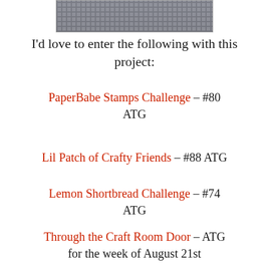[Figure (illustration): Partial view of a craft/stamp image showing a floral design on a decorative background, cropped at top of page]
I'd love to enter the following with this project:
PaperBabe Stamps Challenge – #80 ATG
Lil Patch of Crafty Friends – #88 ATG
Lemon Shortbread Challenge – #74 ATG
Through the Craft Room Door – ATG for the week of August 21st